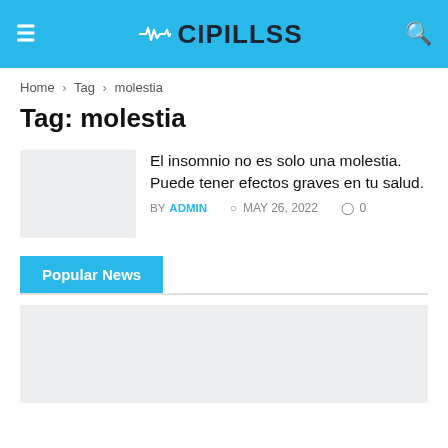CIPILLSS
Home > Tag > molestia
Tag: molestia
El insomnio no es solo una molestia. Puede tener efectos graves en tu salud.
BY ADMIN  MAY 26, 2022  0
Popular News
[Figure (photo): Placeholder image area at bottom of page]